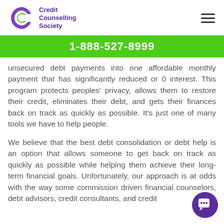Credit Counselling Society
1-888-527-8999
unsecured debt payments into one affordable monthly payment that has significantly reduced or 0 interest. This program protects peoples' privacy, allows them to restore their credit, eliminates their debt, and gets their finances back on track as quickly as possible. It's just one of many tools we have to help people.
We believe that the best debt consolidation or debt help is an option that allows someone to get back on track as quickly as possible while helping them achieve their long-term financial goals. Unfortunately, our approach is at odds with the way some commission driven financial counselors, debt advisors, credit consultants, and credit